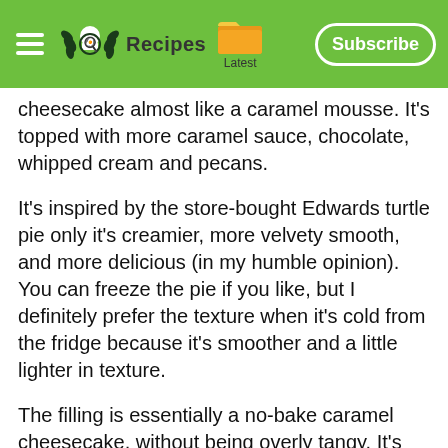Recipes | Latest | Subscribe
cheesecake almost like a caramel mousse. It's topped with more caramel sauce, chocolate, whipped cream and pecans.
It's inspired by the store-bought Edwards turtle pie only it's creamier, more velvety smooth, and more delicious (in my humble opinion). You can freeze the pie if you like, but I definitely prefer the texture when it's cold from the fridge because it's smoother and a little lighter in texture.
The filling is essentially a no-bake caramel cheesecake, without being overly tangy. It's surprisingly not too sweet either. Before serving you can drizzle the pie with more caramel sauce, chocolate sauce, whipped cream and pecans. Feel free to sprinkle chopped pecans over the top of the pie, or just around the edges like I did. You can either use chocolate sauce for the pie, or simply melt